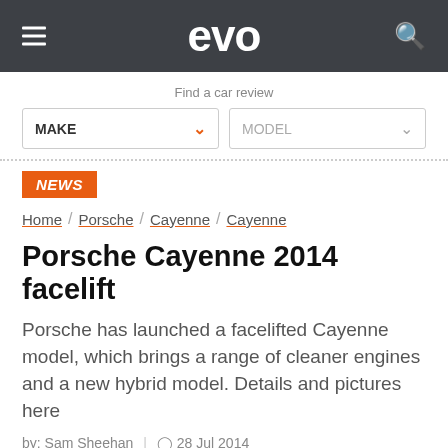evo
Find a car review
MAKE | MODEL
NEWS
Home / Porsche / Cayenne / Cayenne
Porsche Cayenne 2014 facelift
Porsche has launched a facelifted Cayenne model, which brings a range of cleaner engines and a new hybrid model. Details and pictures here
by: Sam Sheehan | 28 Jul 2014